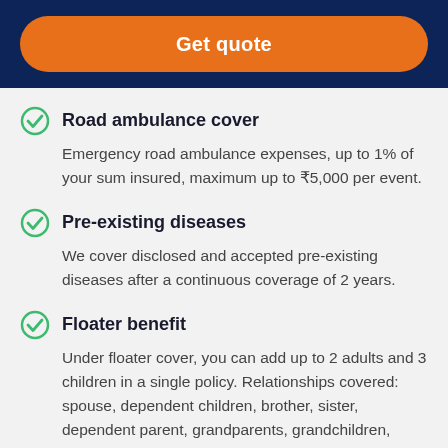Get quote
Road ambulance cover
Emergency road ambulance expenses, up to 1% of your sum insured, maximum up to ₹5,000 per event.
Pre-existing diseases
We cover disclosed and accepted pre-existing diseases after a continuous coverage of 2 years.
Floater benefit
Under floater cover, you can add up to 2 adults and 3 children in a single policy. Relationships covered: spouse, dependent children, brother, sister, dependent parent, grandparents, grandchildren, mother-in-law, father-in-law, son-in-law, daughter-